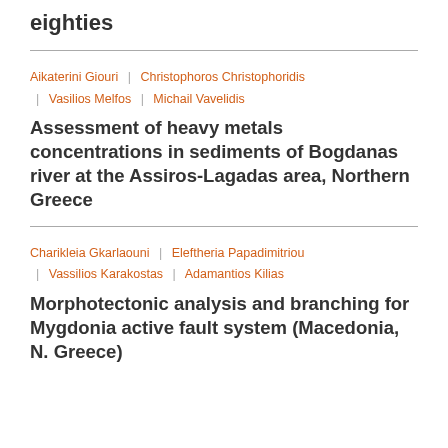eighties
Aikaterini Giouri | Christophoros Christophoridis | Vasilios Melfos | Michail Vavelidis
Assessment of heavy metals concentrations in sediments of Bogdanas river at the Assiros-Lagadas area, Northern Greece
Charikleia Gkarlaouni | Eleftheria Papadimitriou | Vassilios Karakostas | Adamantios Kilias
Morphotectonic analysis and branching for Mygdonia active fault system (Macedonia, N. Greece)